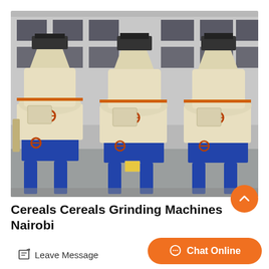[Figure (photo): Three large cream/beige colored industrial cereal grinding machines (Raymond mills) lined up in a row outdoors in front of a multi-story building. The machines have cylindrical bodies, hopper tops, orange/brown valve handles, and sit on blue steel frames/bases.]
Cereals Cereals Grinding Machines Nairobi
Leave Message
Chat Online